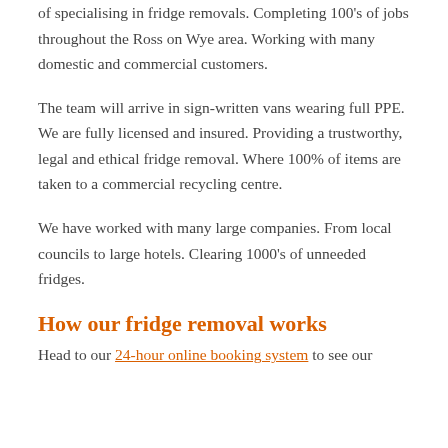of specialising in fridge removals. Completing 100's of jobs throughout the Ross on Wye area. Working with many domestic and commercial customers.
The team will arrive in sign-written vans wearing full PPE. We are fully licensed and insured. Providing a trustworthy, legal and ethical fridge removal. Where 100% of items are taken to a commercial recycling centre.
We have worked with many large companies. From local councils to large hotels. Clearing 1000's of unneeded fridges.
How our fridge removal works
Head to our 24-hour online booking system to see our